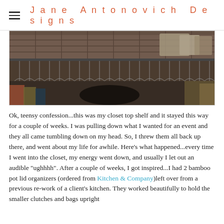Jane Antonovich Designs
[Figure (photo): A cluttered closet top shelf with rows of hangers and bags/clutches piled on the top shelf, dimly lit.]
Ok, teensy confession...this was my closet top shelf and it stayed this way for a couple of weeks. I was pulling down what I wanted for an event and they all came tumbling down on my head. So, I threw them all back up there, and went about my life for awhile. Here's what happened...every time I went into the closet, my energy went down, and usually I let out an audible "ughhhh". After a couple of weeks, I got inspired...I had 2 bamboo pot lid organizers (ordered from Kitchen & Company)left over from a previous re-work of a client's kitchen. They worked beautifully to hold the smaller clutches and bags upright